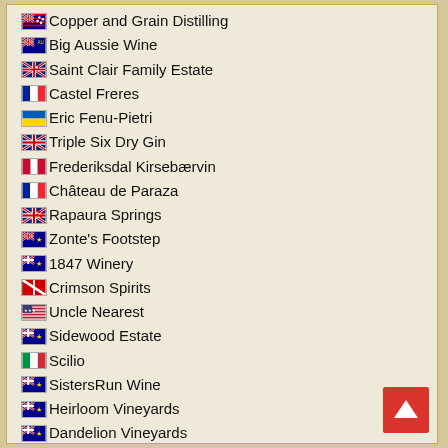Copper and Grain Distilling
Big Aussie Wine
Saint Clair Family Estate
Castel Freres
Eric Fenu-Pietri
Triple Six Dry Gin
Frederiksdal Kirsebærvin
Château de Paraza
Rapaura Springs
Zonte's Footstep
1847 Winery
Crimson Spirits
Uncle Nearest
Sidewood Estate
Scilio
SistersRun Wine
Heirloom Vineyards
Dandelion Vineyards
Chamber Irish Whiskey
Flowstone Distillery